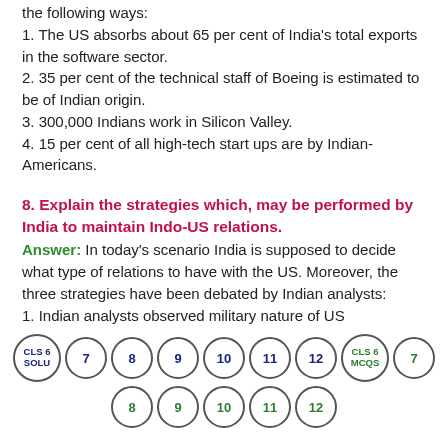the following ways:
1. The US absorbs about 65 per cent of India's total exports in the software sector.
2. 35 per cent of the technical staff of Boeing is estimated to be of Indian origin.
3. 300,000 Indians work in Silicon Valley.
4. 15 per cent of all high-tech start ups are by Indian-Americans.
8. Explain the strategies which, may be performed by India to maintain Indo-US relations.
Answer: In today's scenario India is supposed to decide what type of relations to have with the US. Moreover, the three strategies have been debated by Indian analysts:
1. Indian analysts observed military nature of US
[Figure (other): Navigation circles row 1: CLS 6 SOLU, 7, 8, 9, 10, 11, 12, CLS 6 MCQS, 7]
[Figure (other): Navigation circles row 2: 8, 9, 10, 11, 12]